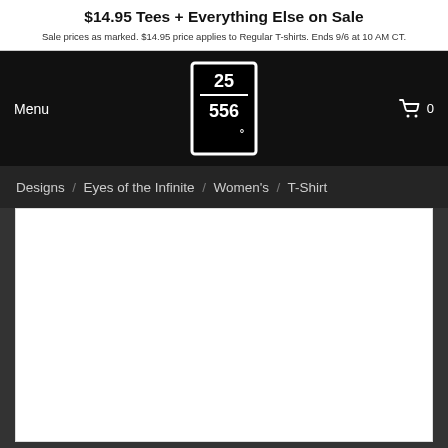$14.95 Tees + Everything Else on Sale
Sale prices as marked. $14.95 price applies to Regular T-shirts. Ends 9/6 at 10 AM CT.
Menu
[Figure (logo): 25556 brand logo in a white rectangle on black background]
0
Designs / Eyes of the Infinite / Women's / T-Shirt
[Figure (photo): White product image area (blank/empty white rectangle)]